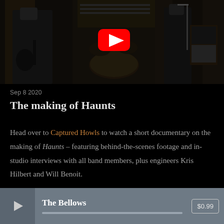[Figure (photo): Video thumbnail of a band in a studio setting with a YouTube play button overlay]
Sep 8 2020
The making of Haunts
Head over to Captured Howls to watch a short documentary on the making of Haunts – featuring behind-the-scenes footage and in-studio interviews with all band members, plus engineers Kris Hilbert and Will Benoit.
The Bellows   $0.99